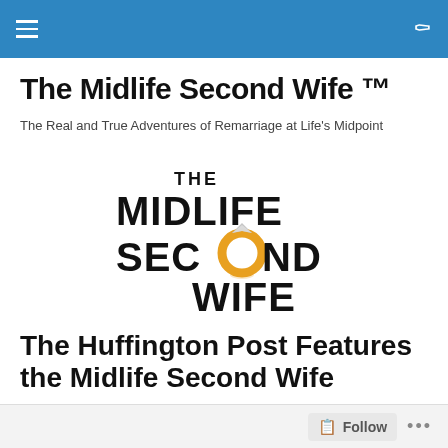Navigation bar with menu and search icons
The Midlife Second Wife ™
The Real and True Adventures of Remarriage at Life's Midpoint
[Figure (logo): The Midlife Second Wife logo — stylized text with a gold ring replacing the 'O' in SECOND, with a diamond on top of the ring]
The Huffington Post Features the Midlife Second Wife
Follow ...